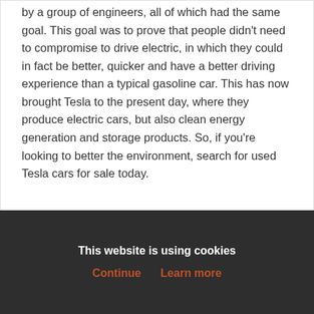by a group of engineers, all of which had the same goal. This goal was to prove that people didn't need to compromise to drive electric, in which they could in fact be better, quicker and have a better driving experience than a typical gasoline car. This has now brought Tesla to the present day, where they produce electric cars, but also clean energy generation and storage products. So, if you're looking to better the environment, search for used Tesla cars for sale today.
Tesla Models
Tesla Model S
Tesla Model X
This website is using cookies
Continue   Learn more